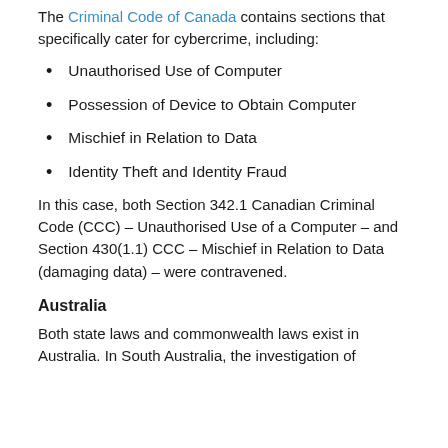The Criminal Code of Canada contains sections that specifically cater for cybercrime, including:
Unauthorised Use of Computer
Possession of Device to Obtain Computer
Mischief in Relation to Data
Identity Theft and Identity Fraud
In this case, both Section 342.1 Canadian Criminal Code (CCC) – Unauthorised Use of a Computer – and Section 430(1.1) CCC – Mischief in Relation to Data (damaging data) – were contravened.
Australia
Both state laws and commonwealth laws exist in Australia. In South Australia, the investigation of